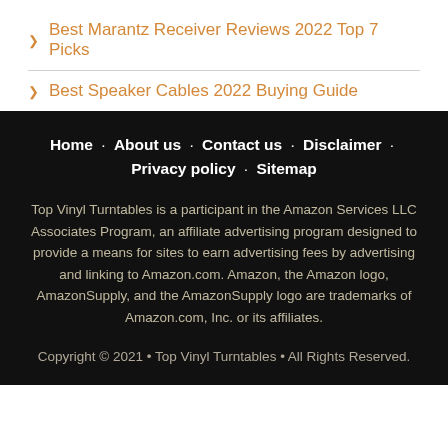Best Marantz Receiver Reviews 2022 Top 7 Picks
Best Speaker Cables 2022 Buying Guide
Home · About us · Contact us · Disclaimer · Privacy policy · Sitemap

Top Vinyl Turntables is a participant in the Amazon Services LLC Associates Program, an affiliate advertising program designed to provide a means for sites to earn advertising fees by advertising and linking to Amazon.com. Amazon, the Amazon logo, AmazonSupply, and the AmazonSupply logo are trademarks of Amazon.com, Inc. or its affiliates.

Copyright © 2021 • Top Vinyl Turntables • All Rights Reserved.